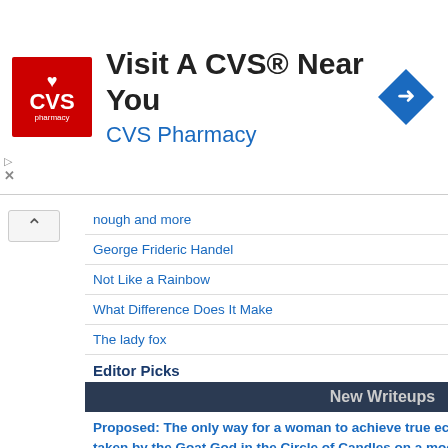[Figure (infographic): CVS Pharmacy advertisement banner with red logo, text 'Visit A CVS® Near You' and 'CVS Pharmacy', and a blue diamond turn arrow icon]
nough and more
George Frideric Handel
Not Like a Rainbow
What Difference Does It Make
The lady fox
Editor Picks
Daedalus
Writer's block
Joan of Arc
Plessy v. Ferguson
FINALLY, a New Orleans gathering: music, mayhem, beer snobs, and Bourbon Street
breast cancer
New Writeups
Proposed: The only way for a woman to achieve true ecstacy is to allow herself to be taken by the Goat God in the Circle of Candles on a moonless night (poetry) by Pandeism Fish